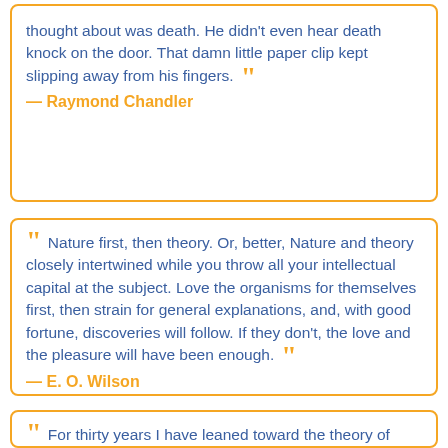thought about was death. He didn't even hear death knock on the door. That damn little paper clip kept slipping away from his fingers. — Raymond Chandler
Nature first, then theory. Or, better, Nature and theory closely intertwined while you throw all your intellectual capital at the subject. Love the organisms for themselves first, then strain for general explanations, and, with good fortune, discoveries will follow. If they don't, the love and the pleasure will have been enough. — E. O. Wilson
For thirty years I have leaned toward the theory of Reincarnation. It seems a most reasonable belief, and...